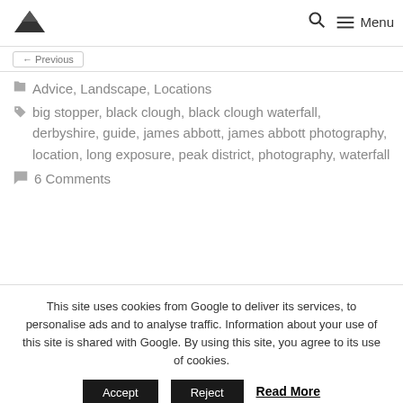Mountain logo | Search | Menu
Advice, Landscape, Locations
big stopper, black clough, black clough waterfall, derbyshire, guide, james abbott, james abbott photography, location, long exposure, peak district, photography, waterfall
6 Comments
This site uses cookies from Google to deliver its services, to personalise ads and to analyse traffic. Information about your use of this site is shared with Google. By using this site, you agree to its use of cookies. Accept Reject Read More